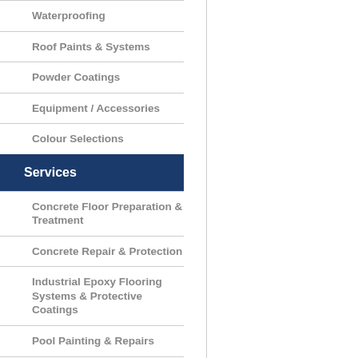Waterproofing
Roof Paints & Systems
Powder Coatings
Equipment / Accessories
Colour Selections
Services
Concrete Floor Preparation & Treatment
Concrete Repair & Protection
Industrial Epoxy Flooring Systems & Protective Coatings
Pool Painting & Repairs
Waterproofing & Jointing Systems
Roofing & Decking